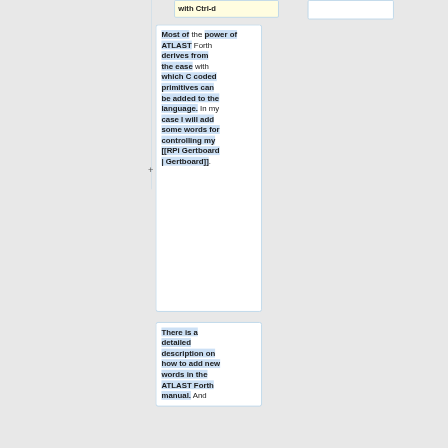with Ctrl-d
Most of the power of ATLAST Forth derives from the ease with which C coded primitives can be added to the language. In my case I will add some words for controlling my [[RPi Gertboard | Gertboard]].
There is a detailed description on how to add new words in the ATLAST Forth manual. And